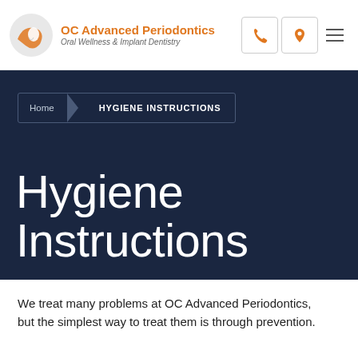OC Advanced Periodontics — Oral Wellness & Implant Dentistry
Home > HYGIENE INSTRUCTIONS
Hygiene Instructions
We treat many problems at OC Advanced Periodontics, but the simplest way to treat them is through prevention.